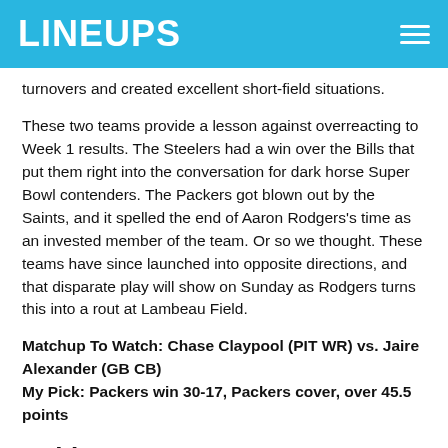LINEUPS
turnovers and created excellent short-field situations.
These two teams provide a lesson against overreacting to Week 1 results. The Steelers had a win over the Bills that put them right into the conversation for dark horse Super Bowl contenders. The Packers got blown out by the Saints, and it spelled the end of Aaron Rodgers's time as an invested member of the team. Or so we thought. These teams have since launched into opposite directions, and that disparate play will show on Sunday as Rodgers turns this into a rout at Lambeau Field.
Matchup To Watch: Chase Claypool (PIT WR) vs. Jaire Alexander (GB CB)
My Pick: Packers win 30-17, Packers cover, over 45.5 points
Baltimore Ravens @ Denver Broncos